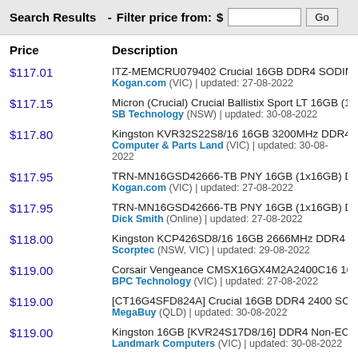Search Results - Filter price from: $ [input] Go
| Price | Description |
| --- | --- |
| $117.01 | ITZ-MEMCRU079402 Crucial 16GB DDR4 SODIMM 2666 M
Kogan.com (VIC) | updated: 27-08-2022 |
| $117.15 | Micron (Crucial) Crucial Ballistix Sport LT 16GB (1x16GB) D
SB Technology (NSW) | updated: 30-08-2022 |
| $117.80 | Kingston KVR32S22S8/16 16GB 3200MHz DDR4 Non ECC
Computer & Parts Land (VIC) | updated: 30-08-2022 |
| $117.95 | TRN-MN16GSD42666-TB PNY 16GB (1x16GB) DDR4 SOD
Kogan.com (VIC) | updated: 27-08-2022 |
| $117.95 | TRN-MN16GSD42666-TB PNY 16GB (1x16GB) DDR4 SOD
Dick Smith (Online) | updated: 27-08-2022 |
| $118.00 | Kingston KCP426SD8/16 16GB 2666MHz DDR4 SODIMM
Scorptec (NSW, VIC) | updated: 29-08-2022 |
| $119.00 | Corsair Vengeance CMSX16GX4M2A2400C16 16GB (2x8G
BPC Technology (VIC) | updated: 27-08-2022 |
| $119.00 | [CT16G4SFD824A] Crucial 16GB DDR4 2400 SODIMM
MegaBuy (QLD) | updated: 30-08-2022 |
| $119.00 | Kingston 16GB [KVR24S17D8/16] DDR4 Non-ECC CL17 S
Landmark Computers (VIC) | updated: 30-08-2022 |